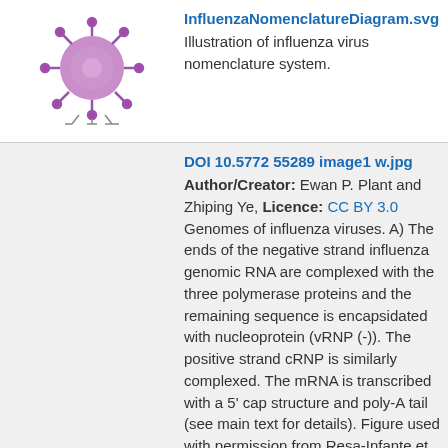[Figure (illustration): Thumbnail image of influenza virus nomenclature diagram (purple spiky virus illustration)]
InfluenzaNomenclatureDiagram.svg
Illustration of influenza virus nomenclature system.
[Figure (illustration): Thumbnail image of influenza genome schematic showing colored bars and segments]
DOI 10.5772 55289 image1 w.jpg
Author/Creator: Ewan P. Plant and Zhiping Ye, Licence: CC BY 3.0
Genomes of influenza viruses. A) The ends of the negative strand influenza genomic RNA are complexed with the three polymerase proteins and the remaining sequence is encapsidated with nucleoprotein (vRNP (-)). The positive strand cRNP is similarly complexed. The mRNA is transcribed with a 5' cap structure and poly-A tail (see main text for details). Figure used with permission from Resa-Infante et al., 2011. B) Schematic of the influenza A virus genome. The bold black lines represent the 3' and 5' untranslated regions. The blue and pink boxes represent